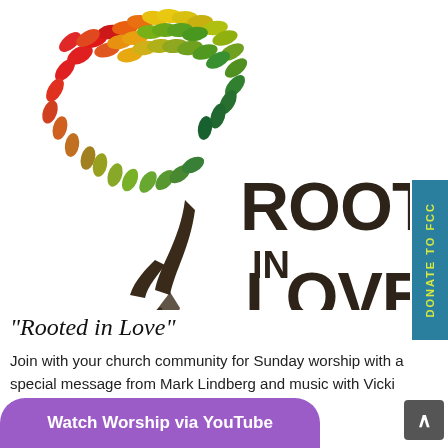[Figure (logo): Rooted in Love logo: a colorful tree with rainbow-colored leaves (red, orange, yellow, green) and brown trunk with roots, blue water waves at base, and bold text 'ROOTED IN LOVE' in dark brown.]
“Rooted in Love”
Join with your church community for Sunday worship with a special message from Mark Lindberg and music with Vicki Brabham and the FCC Chancel Choir.
Watch Worship via YouTube